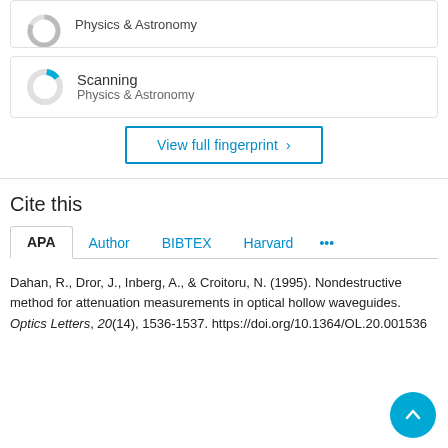[Figure (other): Partial donut chart card with 'Physics & Astronomy' label (top, partially cropped)]
[Figure (other): Donut chart card labeled 'Scanning / Physics & Astronomy' with small cyan segment]
View full fingerprint ›
Cite this
APA  Author  BIBTEX  Harvard  ...
Dahan, R., Dror, J., Inberg, A., & Croitoru, N. (1995). Nondestructive method for attenuation measurements in optical hollow waveguides. Optics Letters, 20(14), 1536-1537. https://doi.org/10.1364/OL.20.001536